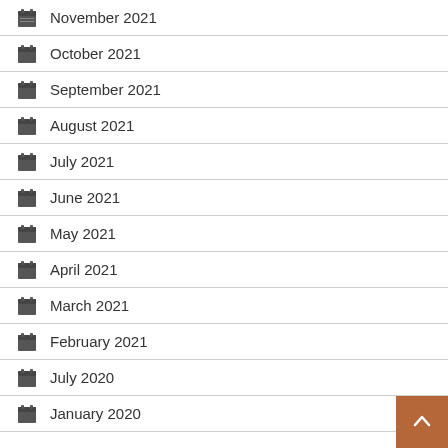November 2021
October 2021
September 2021
August 2021
July 2021
June 2021
May 2021
April 2021
March 2021
February 2021
July 2020
January 2020